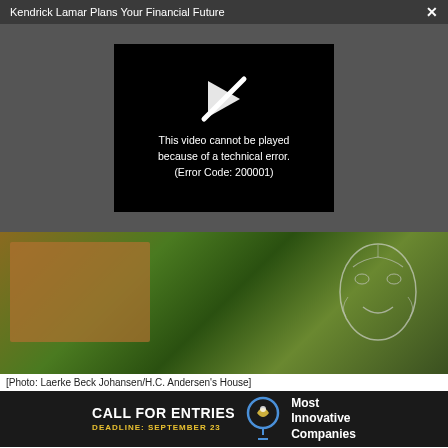Kendrick Lamar Plans Your Financial Future  ×
[Figure (screenshot): Video player error screen showing black box with broken video icon and text: This video cannot be played because of a technical error. (Error Code: 200001)]
[Figure (photo): Photo of a building with green trees and a large mural/illustration of a face on the right side. Warm tones with orange brick building on left.]
[Photo: Laerke Beck Johansen/H.C. Andersen's House]
[Figure (infographic): Advertisement banner with black background: CALL FOR ENTRIES DEADLINE: SEPTEMBER 23 with lightbulb icon and text 'Most Innovative Companies']